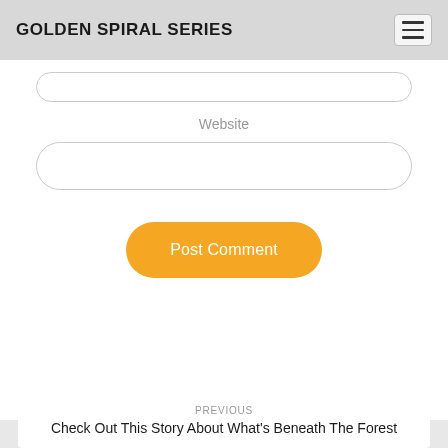GOLDEN SPIRAL SERIES
Website
Post Comment
PREVIOUS
Check Out This Story About What's Beneath The Forest